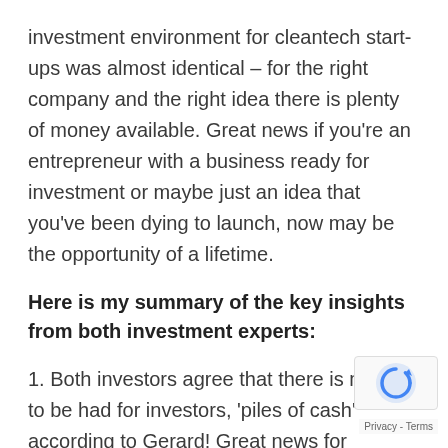investment environment for cleantech start-ups was almost identical – for the right company and the right idea there is plenty of money available. Great news if you're an entrepreneur with a business ready for investment or maybe just an idea that you've been dying to launch, now may be the opportunity of a lifetime.
Here is my summary of the key insights from both investment experts:
1. Both investors agree that there is money to be had for investors, 'piles of cash' according to Gerard! Great news for entrepreneurs, and for